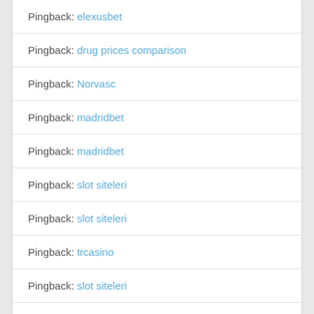Pingback: elexusbet
Pingback: drug prices comparison
Pingback: Norvasc
Pingback: madridbet
Pingback: madridbet
Pingback: slot siteleri
Pingback: slot siteleri
Pingback: trcasino
Pingback: slot siteleri